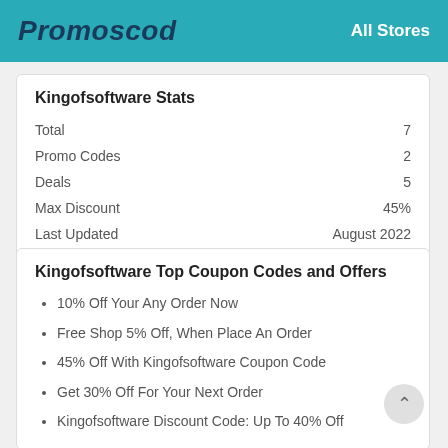Promoscod   All Stores
Kingofsoftware Stats
|  |  |
| --- | --- |
| Total | 7 |
| Promo Codes | 2 |
| Deals | 5 |
| Max Discount | 45% |
| Last Updated | August 2022 |
Kingofsoftware Top Coupon Codes and Offers
10% Off Your Any Order Now
Free Shop 5% Off, When Place An Order
45% Off With Kingofsoftware Coupon Code
Get 30% Off For Your Next Order
Kingofsoftware Discount Code: Up To 40% Off